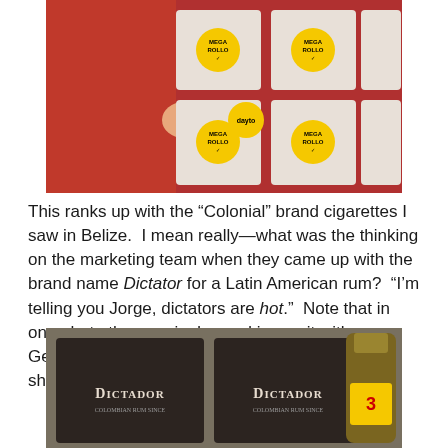[Figure (photo): Woman in red top standing in front of stacked toilet paper rolls with yellow MEGA ROLLO labels in a store]
This ranks up with the “Colonial” brand cigarettes I saw in Belize.  I mean really—what was the thinking on the marketing team when they came up with the brand name Dictator for a Latin American rum?  “I’m telling you Jorge, dictators are hot.”  Note that in one photo the man is dressed in a suit with a George Michael beard and in the other he is shirtless and clean shaven.
[Figure (photo): Two dark Dictador Colombian rum boxes and a bottle with yellow label numbered 3]